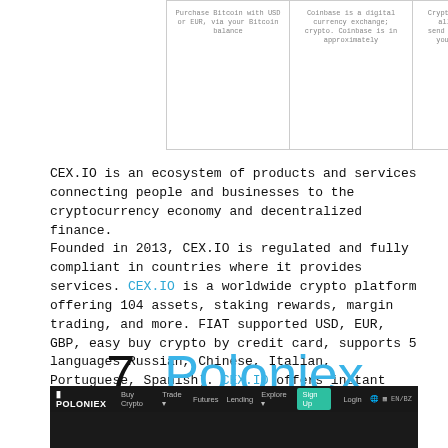[Figure (screenshot): Top portion of a comparison table showing three columns with small gray text describing features of a cryptocurrency exchange platform, partially visible.]
CEX.IO is an ecosystem of products and services connecting people and businesses to the cryptocurrency economy and decentralized finance. Founded in 2013, CEX.IO is regulated and fully compliant in countries where it provides services. CEX.IO is a worldwide crypto platform offering 104 assets, staking rewards, margin trading, and more. FIAT supported USD, EUR, GBP, easy buy crypto by credit card, supports 5 languages Russian, Chinese, Italian, Portuguese, Spanish). CEX.IO offers instant crypto purchases for traders using credit or debit cards. Trading fees: 0.25% Taker Fee, 0.16% Maker Fee. Deposit methods: wire transfer and credit card.
7. Poloniex
[Figure (screenshot): Screenshot of the Poloniex cryptocurrency exchange website showing a dark navigation bar with logo, menu items (Buy Crypto, Trade, Futures, Lending, Explore), a Sign Up button, and a dark background area below.]